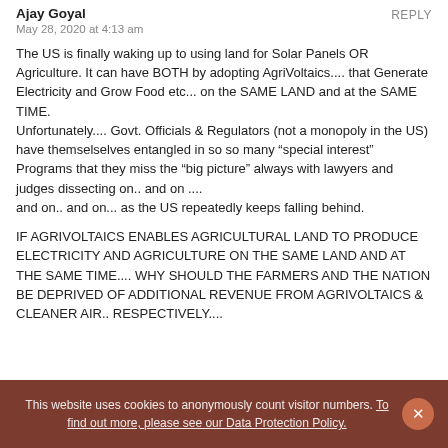Ajay Goyal
REPLY
May 28, 2020 at 4:13 am
The US is finally waking up to using land for Solar Panels OR Agriculture. It can have BOTH by adopting AgriVoltaics.... that Generate Electricity and Grow Food etc... on the SAME LAND and at the SAME TIME.
Unfortunately.... Govt. Officials & Regulators (not a monopoly in the US) have themselselves entangled in so so many “special interest” Programs that they miss the “big picture” always with lawyers and judges dissecting on.. and on ....
and on.. and on... as the US repeatedly keeps falling behind.
IF AGRIVOLTAICS ENABLES AGRICULTURAL LAND TO PRODUCE ELECTRICITY AND AGRICULTURE ON THE SAME LAND AND AT THE SAME TIME.... WHY SHOULD THE FARMERS AND THE NATION BE DEPRIVED OF ADDITIONAL REVENUE FROM AGRIVOLTAICS & CLEANER AIR.. RESPECTIVELY....
This website uses cookies to anonymously count visitor numbers. To find out more, please see our Data Protection Policy.